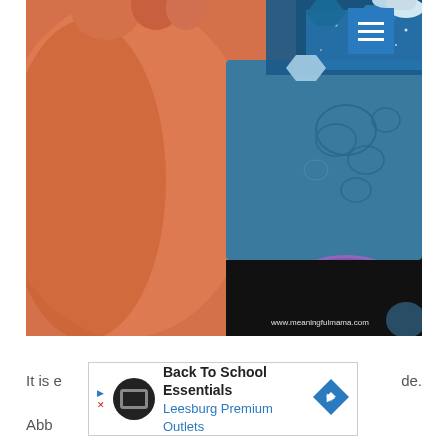[Figure (photo): Close-up photo of a child's hand reaching toward colorful geometric shapes and textured blue decorative items on a dark surface. Blue hexagons, white rounded shapes, and a purple ring are visible. Website watermark reads www.meaningfulmama.com. A blue menu button with three horizontal lines appears in the top right corner.]
It is e... de.
Abb...